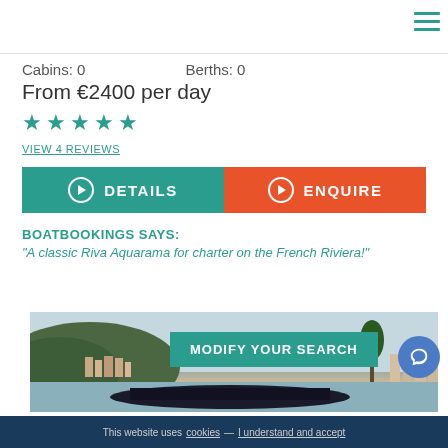Cabins: 0    Berths: 0
From €2400 per day
★★★★★
VIEW 4 REVIEWS
DETAILS
ENQUIRE
BOATBOOKINGS SAYS:
"A classic Riva Aquarama for charter on the French Riviera!"
[Figure (photo): Boat on water with hillside town in background, French Riviera]
MODIFY YOUR SEARCH
This website uses cookies — I understand and accept